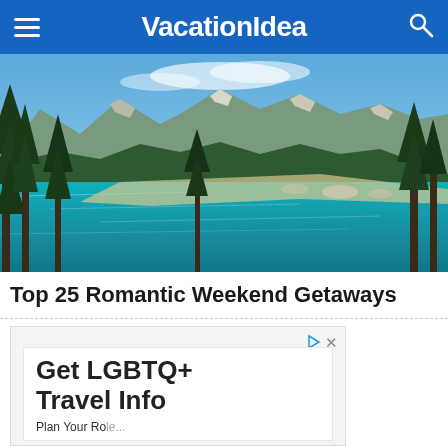VacationIdea
[Figure (photo): Aerial/elevated view of a brilliant turquoise mountain lake (Lake Tahoe) surrounded by pine trees and rocky mountains under blue sky]
Top 25 Romantic Weekend Getaways
[Figure (infographic): Advertisement box with play and close icons. Contains inner white box with large text: 'Get LGBTQ+ Travel Info' and subtext 'Plan Your Role...']